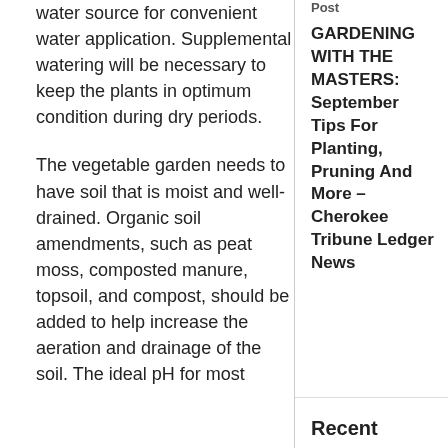water source for convenient water application. Supplemental watering will be necessary to keep the plants in optimum condition during dry periods.
The vegetable garden needs to have soil that is moist and well-drained. Organic soil amendments, such as peat moss, composted manure, topsoil, and compost, should be added to help increase the aeration and drainage of the soil. The ideal pH for most
Post
GARDENING WITH THE MASTERS: September Tips For Planting, Pruning And More – Cherokee Tribune Ledger News
Recent